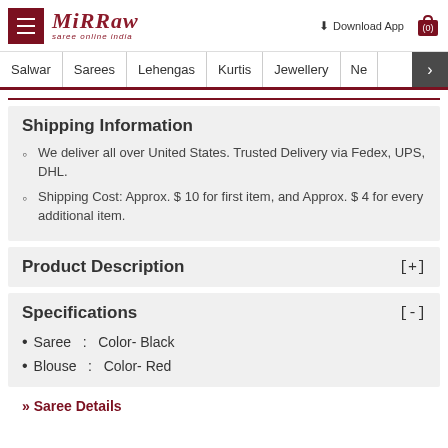Mirraw - saree online india | Download App | (0)
Salwar | Sarees | Lehengas | Kurtis | Jewellery | Ne >
Shipping Information
We deliver all over United States. Trusted Delivery via Fedex, UPS, DHL.
Shipping Cost: Approx. $ 10 for first item, and Approx. $ 4 for every additional item.
Product Description [+]
Specifications [-]
Saree   :   Color- Black
Blouse  :   Color- Red
» Saree Details